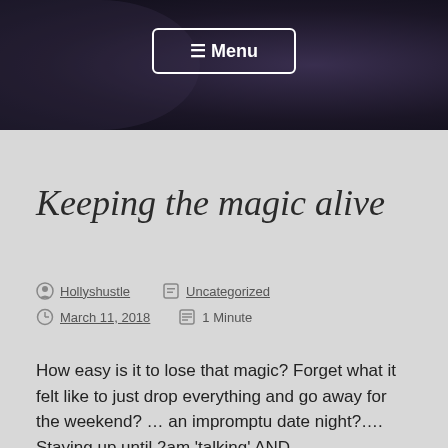[Figure (photo): Dark purple/grey hero image of a person in dim lighting, used as page header background]
☰ Menu
Keeping the magic alive
Hollyshustle   Uncategorized   March 11, 2018   1 Minute
How easy is it to lose that magic? Forget what it felt like to just drop everything and go away for the weekend? … an impromptu date night?…. Staying up until 2am 'talking' AND